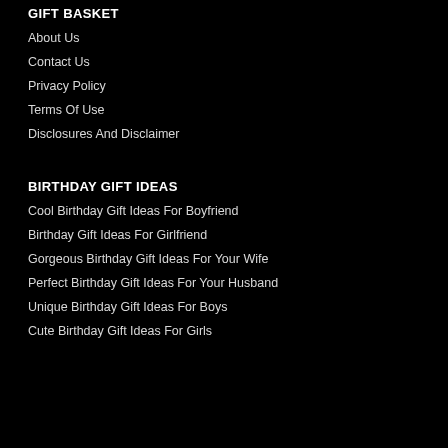GIFT BASKET
About Us
Contact Us
Privacy Policy
Terms Of Use
Disclosures And Disclaimer
BIRTHDAY GIFT IDEAS
Cool Birthday Gift Ideas For Boyfriend
Birthday Gift Ideas For Girlfriend
Gorgeous Birthday Gift Ideas For Your Wife
Perfect Birthday Gift Ideas For Your Husband
Unique Birthday Gift Ideas For Boys
Cute Birthday Gift Ideas For Girls